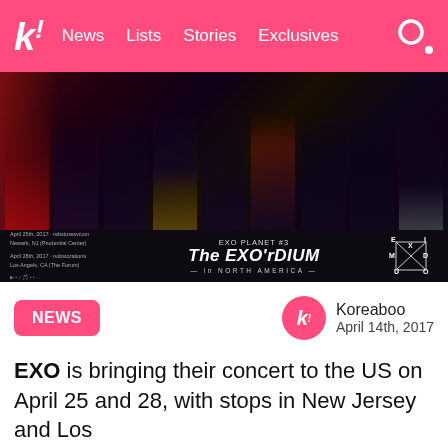k! News Lists Stories Exclusives
[Figure (photo): EXO Planet #3 The EXO'rDIUM in North America concert promotional poster showing 9 members in dark clothing against a dark background. Bottom bar shows event dates and EXO logo.]
NEWS
Koreaboo
April 14th, 2017
EXO is bringing their concert to the US on April 25 and 28, with stops in New Jersey and Los